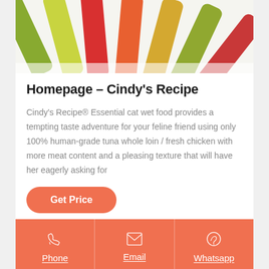[Figure (photo): Colorful rhubarb or chard stalks fanned out, showing red, orange, yellow, and green colors on a white background]
Homepage – Cindy's Recipe
Cindy's Recipe® Essential cat wet food provides a tempting taste adventure for your feline friend using only 100% human-grade tuna whole loin / fresh chicken with more meat content and a pleasing texture that will have her eagerly asking for
Get Price
Phone | Email | Whatsapp